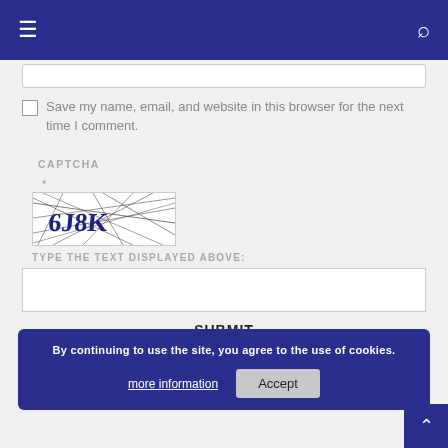Navigation bar with hamburger menu and search icon
Save my name, email, and website in this browser for the next time I comment.
CAPTCHA
[Figure (other): CAPTCHA image showing distorted text '6J8K' with crossing lines on white background]
TYPE THE TEXT DISPLAYED ABOVE:
SUBMIT
By continuing to use the site, you agree to the use of cookies. more information  Accept